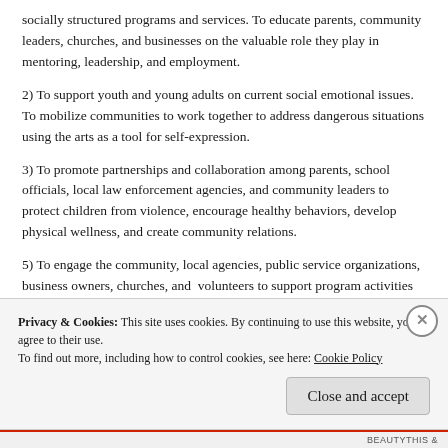socially structured programs and services. To educate parents, community leaders, churches, and businesses on the valuable role they play in mentoring, leadership, and employment.
2) To support youth and young adults on current social emotional issues. To mobilize communities to work together to address dangerous situations using the arts as a tool for self-expression.
3) To promote partnerships and collaboration among parents, school officials, local law enforcement agencies, and community leaders to protect children from violence, encourage healthy behaviors, develop physical wellness, and create community relations.
5) To engage the community, local agencies, public service organizations, business owners, churches, and volunteers to support program activities such as talent shows, showcases, festivals, internships and
Privacy & Cookies: This site uses cookies. By continuing to use this website, you agree to their use.
To find out more, including how to control cookies, see here: Cookie Policy
Close and accept
BEAUTYTHIS &